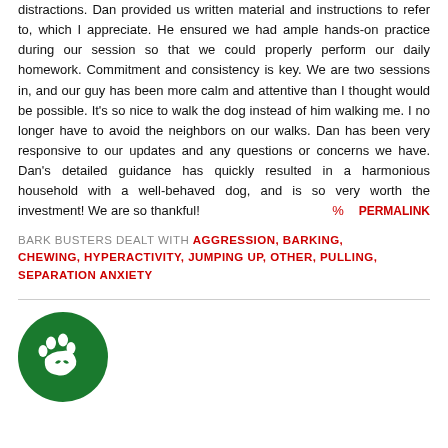distractions. Dan provided us written material and instructions to refer to, which I appreciate. He ensured we had ample hands-on practice during our session so that we could properly perform our daily homework. Commitment and consistency is key. We are two sessions in, and our guy has been more calm and attentive than I thought would be possible. It's so nice to walk the dog instead of him walking me. I no longer have to avoid the neighbors on our walks. Dan has been very responsive to our updates and any questions or concerns we have. Dan's detailed guidance has quickly resulted in a harmonious household with a well-behaved dog, and is so very worth the investment! We are so thankful!
BARK BUSTERS DEALT WITH AGGRESSION, BARKING, CHEWING, HYPERACTIVITY, JUMPING UP, OTHER, PULLING, SEPARATION ANXIETY
[Figure (logo): Bark Busters paw print logo — white paw print on dark green circle]